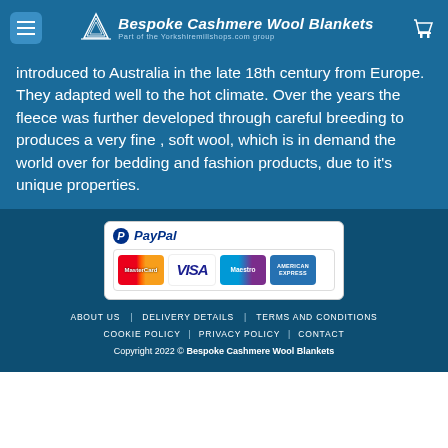Bespoke Cashmere Wool Blankets – Part of the Yorkshiremillshops.com group
introduced to Australia in the late 18th century from Europe. They adapted well to the hot climate. Over the years the fleece was further developed through careful breeding to produces a very fine , soft wool, which is in demand the world over for bedding and fashion products, due to it's unique properties.
[Figure (other): PayPal payment accepted logos showing MasterCard, VISA, Maestro, and American Express cards]
ABOUT US | DELIVERY DETAILS | TERMS AND CONDITIONS | COOKIE POLICY | PRIVACY POLICY | CONTACT | Copyright 2022 © Bespoke Cashmere Wool Blankets